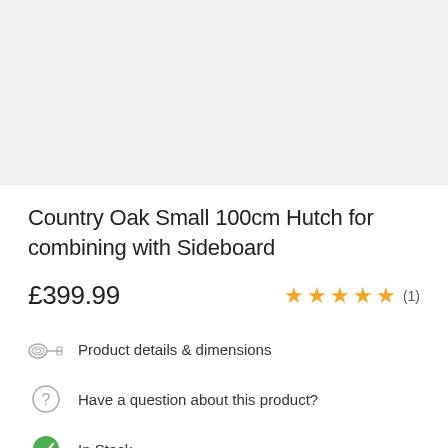[Figure (photo): Product image placeholder area (light grey background)]
Country Oak Small 100cm Hutch for combining with Sideboard
£399.99
★★★★★ (1)
Product details & dimensions
Have a question about this product?
In Stock